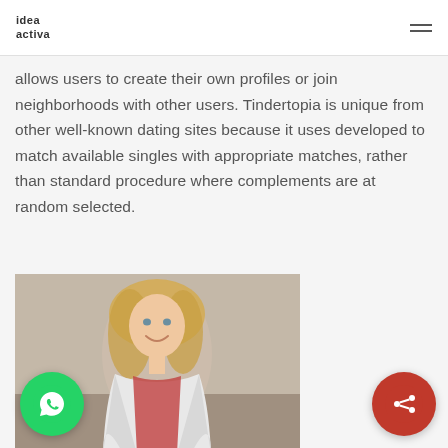idea activa
allows users to create their own profiles or join neighborhoods with other users. Tindertopia is unique from other well-known dating sites because it uses developed to match available singles with appropriate matches, rather than standard procedure where complements are at random selected.
[Figure (photo): Photo of a smiling blonde woman with long hair, wearing a white jacket over a plaid shirt, outdoor setting with blurred background]
[Figure (logo): WhatsApp button - green circle with phone handset icon]
[Figure (logo): Share button - red circle with share/network icon]